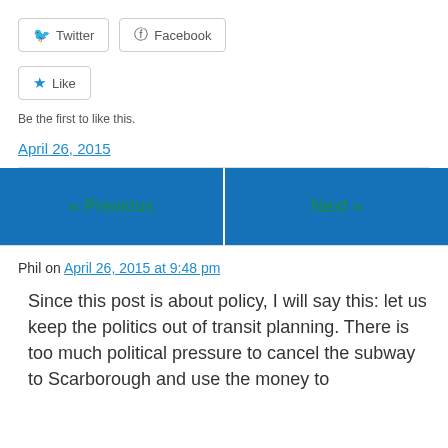[Figure (other): Twitter and Facebook share buttons]
[Figure (other): Like button with star icon]
Be the first to like this.
April 26, 2015
« Previous
Next »
Phil on April 26, 2015 at 9:48 pm
Since this post is about policy, I will say this: let us keep the politics out of transit planning. There is too much political pressure to cancel the subway to Scarborough and use the money to